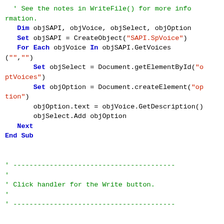VBScript code snippet showing Sub routines with SAPI voice object creation and btnWrite_OnClick handler